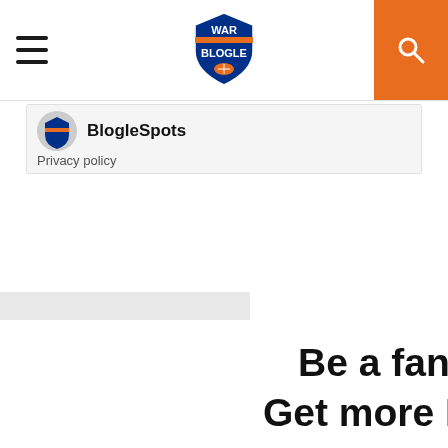[Figure (screenshot): War Blogle website header with hamburger menu, logo, and orange search button]
BlogleSpots
Privacy policy
Be a fan. Enjoy b... Get more Blogl...
Email
Sign Up
[Figure (screenshot): War Blogle app screenshot showing logo on phone screen]